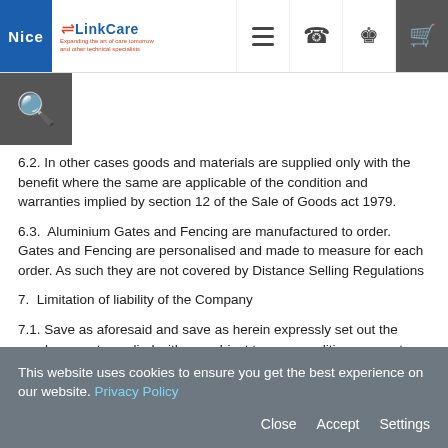Nice LinkCare — website navigation header with logo, hamburger menu, phone, user, and cart icons
6.2. In other cases goods and materials are supplied only with the benefit where the same are applicable of the condition and warranties implied by section 12 of the Sale of Goods act 1979.
6.3.  Aluminium Gates and Fencing are manufactured to order. Gates and Fencing are personalised and made to measure for each order. As such they are not covered by Distance Selling Regulations
7.  Limitation of liability of the Company
7.1. Save as aforesaid and save as herein expressly set out the goods are not supplied with, or subject to, any condition, warranty or other term whether express or implied unless specifically stated by the Company in writing.
7.2. In no circumstances except in respect of death or personal injury
This website uses cookies to ensure you get the best experience on our website. Privacy Policy
Close  Accept  Settings